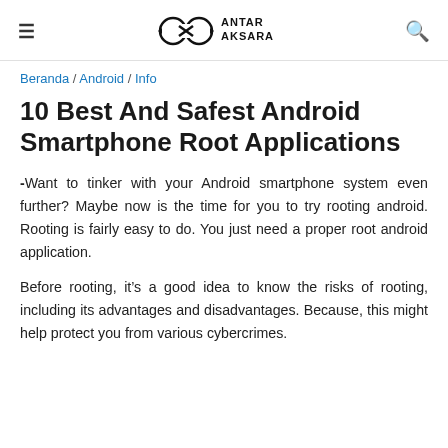ANTAR AKSARA
Beranda / Android / Info
10 Best And Safest Android Smartphone Root Applications
-Want to tinker with your Android smartphone system even further? Maybe now is the time for you to try rooting android. Rooting is fairly easy to do. You just need a proper root android application.
Before rooting, it’s a good idea to know the risks of rooting, including its advantages and disadvantages. Because, this might help protect you from various cybercrimes.